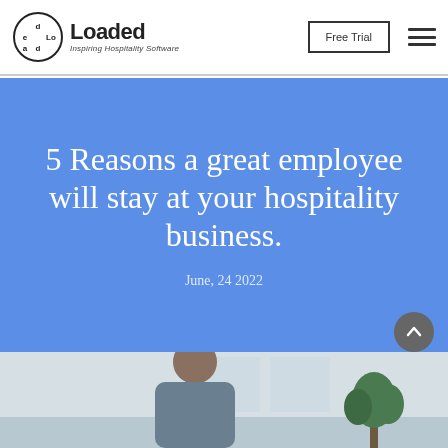Loaded – Inspiring Hospitality Software | Free Trial
5 Reasons a great employee will stay at your hospitality business.
June, 24 2022
[Figure (photo): Photo of a person, partially visible at the bottom of the page, inside a room with a plant visible on the right side.]